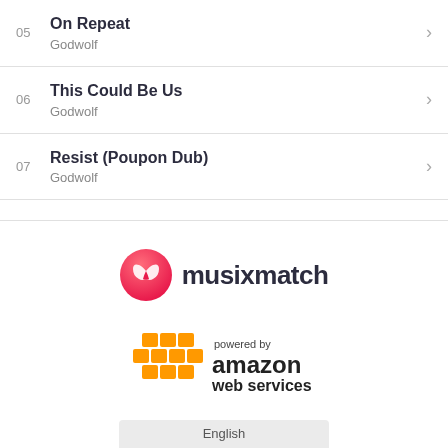05 On Repeat — Godwolf
06 This Could Be Us — Godwolf
07 Resist (Poupon Dub) — Godwolf
[Figure (logo): Musixmatch logo: pink/red circle with butterfly icon and 'musixmatch' text in dark]
[Figure (logo): Amazon Web Services logo with orange cube grid and 'powered by amazon web services' text]
English